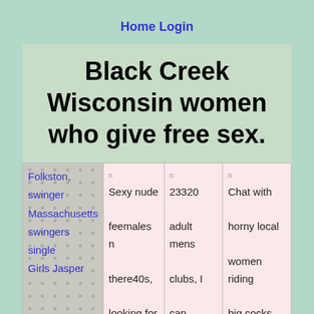Home Login
Black Creek Wisconsin women who give free sex.
| Folkston,
swinger
Massachusetts
swingers single
Girls Jasper | n
Sexy nude feemales n there40s, looking for | n
23320 adult mens clubs, I can supply | n
Chat with horny local women riding big cocks. |